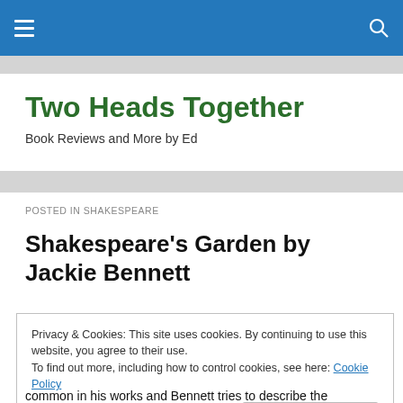Two Heads Together — Book Reviews and More by Ed
Two Heads Together
Book Reviews and More by Ed
POSTED IN SHAKESPEARE
Shakespeare's Garden by Jackie Bennett
Privacy & Cookies: This site uses cookies. By continuing to use this website, you agree to their use.
To find out more, including how to control cookies, see here: Cookie Policy
Close and accept
common in his works and Bennett tries to describe the